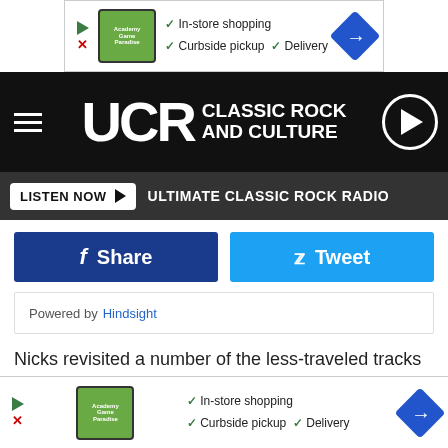[Figure (screenshot): Advertisement banner with game store logo, checkmarks for In-store shopping, Curbside pickup, Delivery, and a blue direction arrow icon]
[Figure (logo): UCR Classic Rock and Culture logo on black header bar with hamburger menu and play button]
LISTEN NOW ▶  ULTIMATE CLASSIC ROCK RADIO
[Figure (screenshot): Facebook Share button (dark blue) and Twitter Tweet button (light blue)]
Powered by Hindsight
Nicks revisited a number of the less-traveled tracks in her catalog during her set, setting the tone with her first performance of "Gold and Braid" in more than 15 years. The rest of the evening balanced solo and Fleetwood Mac hits against songs that had stayed offstage for decades — like "Bella D... all, such a...e" and
[Figure (screenshot): Advertisement banner at bottom with game store logo, checkmarks for In-store shopping, Curbside pickup, Delivery, and a blue direction arrow icon]